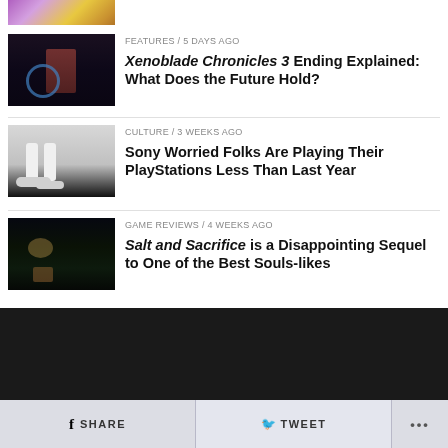[Figure (photo): Partial thumbnail of a colorful anime/game artwork at top]
[Figure (photo): Dark anime character screenshot from Xenoblade Chronicles 3]
FEATURES / 5 days ago
Xenoblade Chronicles 3 Ending Explained: What Does the Future Hold?
[Figure (photo): PS5 consoles on dark background]
CULTURE / 3 weeks ago
Sony Worried Folks Are Playing Their PlayStations Less Than Last Year
[Figure (photo): Dark atmospheric game screenshot from Salt and Sacrifice]
GAME REVIEWS / 4 weeks ago
Salt and Sacrifice is a Disappointing Sequel to One of the Best Souls-likes
SHARE   TWEET   ...